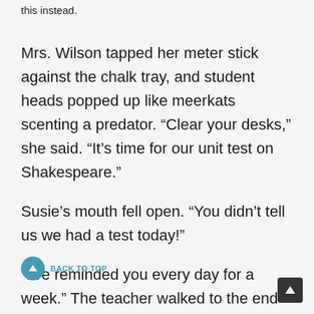this instead.
Mrs. Wilson tapped her meter stick against the chalk tray, and student heads popped up like meerkats scenting a predator. “Clear your desks,” she said. “It’s time for our unit test on Shakespeare.”
Susie’s mouth fell open. “You didn’t tell us we had a test today!”
“I’ve reminded you every day for a week.” The teacher walked to the end of the row and began counting out test papers.
Susie slumped in her seat. “This is totally unfair.”